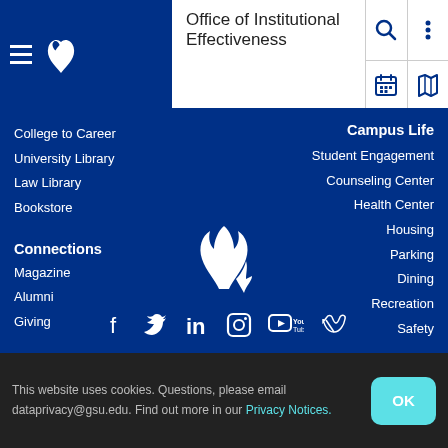Office of Institutional Effectiveness
College to Career
University Library
Law Library
Bookstore
Connections
Magazine
Alumni
Giving
Campus Life
Student Engagement
Counseling Center
Health Center
Housing
Parking
Dining
Recreation
Safety
[Figure (logo): Georgia State University flame logo (white) centered in footer area]
[Figure (infographic): Social media icons: Facebook, Twitter, LinkedIn, Instagram, YouTube, Vimeo]
This website uses cookies. Questions, please email dataprivacy@gsu.edu. Find out more in our Privacy Notices.